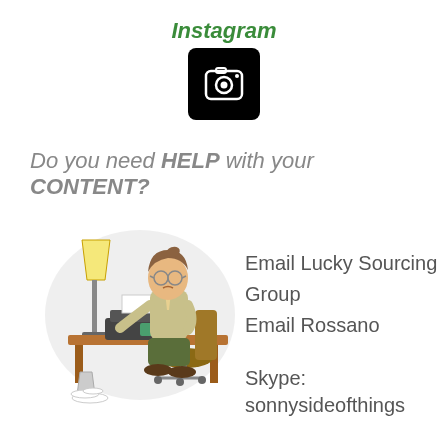Instagram
[Figure (logo): Instagram camera icon in white on black square background]
Do you need HELP with your CONTENT?
[Figure (illustration): Cartoon illustration of a stressed person typing at a typewriter desk with a lamp, papers on the floor, and an office chair]
Email Lucky Sourcing Group
Email Rossano
Skype:
sonnysideofthings